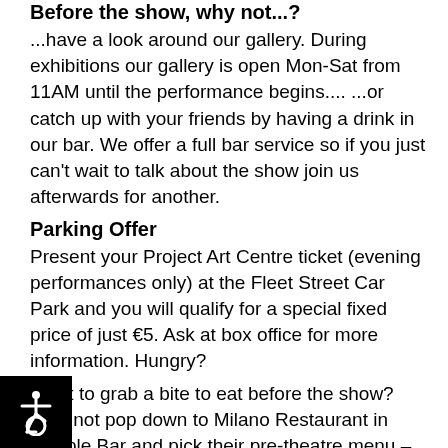Before the show, why not...?
...have a look around our gallery. During exhibitions our gallery is open Mon-Sat from 11AM until the performance begins.... ...or catch up with your friends by having a drink in our bar. We offer a full bar service so if you just can't wait to talk about the show join us afterwards for another.
Parking Offer
Present your Project Art Centre ticket (evening performances only) at the Fleet Street Car Park and you will qualify for a special fixed price of just €5. Ask at box office for more information. Hungry?
Want to grab a bite to eat before the show? Why not pop down to Milano Restaurant in Temple Bar and pick their pre-theatre menu – Pizza, Pasta or Salad plus and a glass of wine – for just €12.50. Available from 5pm -7pm, just show your tickets or email booking rmation to avail of this offer.
if you're in a rush, remember that Milano also